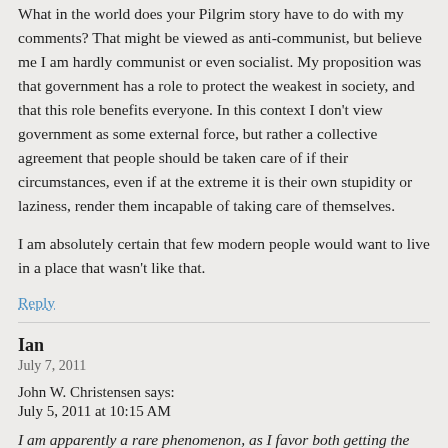What in the world does your Pilgrim story have to do with my comments? That might be viewed as anti-communist, but believe me I am hardly communist or even socialist. My proposition was that government has a role to protect the weakest in society, and that this role benefits everyone. In this context I don't view government as some external force, but rather a collective agreement that people should be taken care of if their circumstances, even if at the extreme it is their own stupidity or laziness, render them incapable of taking care of themselves.
I am absolutely certain that few modern people would want to live in a place that wasn't like that.
Reply
Ian
July 7, 2011
John W. Christensen says:
July 5, 2011 at 10:15 AM
I am apparently a rare phenomenon, as I favor both getting the science right irrespective of policy questions